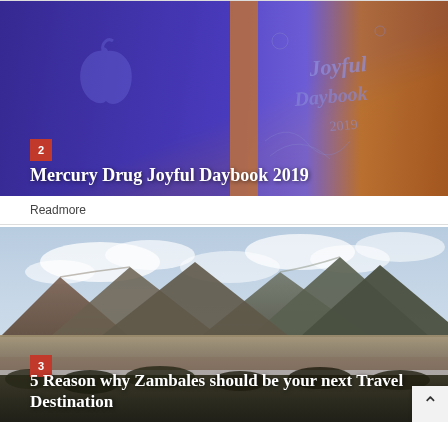[Figure (photo): Purple/blue illuminated book cover of Mercury Drug Joyful Daybook 2019 with decorative script text and an Apple MacBook visible on the left side. Number badge '2' in red in lower left.]
Mercury Drug Joyful Daybook 2019
Readmore
[Figure (photo): Landscape photo of Zambales mountains with rocky terrain in the foreground, mountain range in the background, and cloudy sky. Number badge '3' in red in lower left. Scroll-to-top arrow button in lower right.]
5 Reason why Zambales should be your next Travel Destination